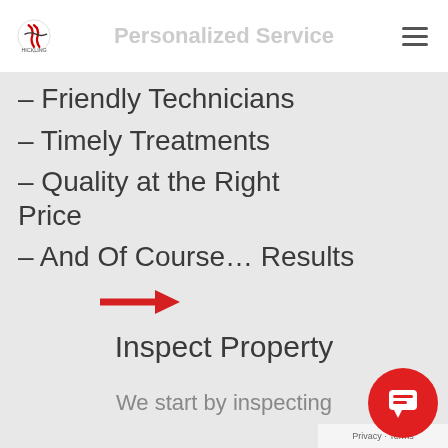Personalized Service
– Friendly Technicians
– Timely Treatments
– Quality at the Right Price
– And Of Course… Results
[Figure (illustration): Red right-pointing arrow icon]
Inspect Property
We start by inspecting